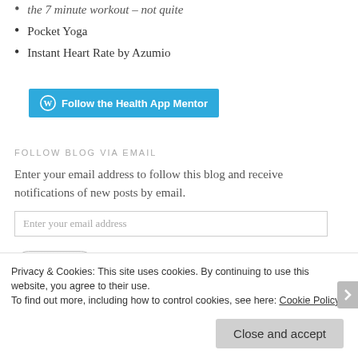the 7 minute workout – not quite
Pocket Yoga
Instant Heart Rate by Azumio
[Figure (other): WordPress Follow button: 'Follow the Health App Mentor']
FOLLOW BLOG VIA EMAIL
Enter your email address to follow this blog and receive notifications of new posts by email.
Enter your email address
Follow
Privacy & Cookies: This site uses cookies. By continuing to use this website, you agree to their use.
To find out more, including how to control cookies, see here: Cookie Policy
Close and accept